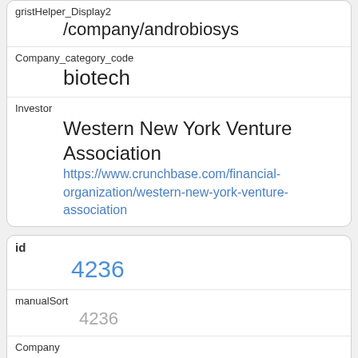| gristHelper_Display2 | /company/androbiosys |
| Company_category_code | biotech |
| Investor | Western New York Venture Association
https://www.crunchbase.com/financial-organization/western-new-york-venture-association |
| id | 4236 |
| manualSort | 4236 |
| Company | 1511 |
| investor_permalink | /financial-organization/wellington-partners |
| investor_name | Wellington Partners |
| investor_category_code |  |